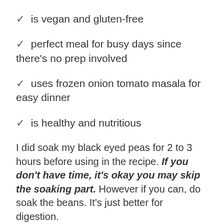✓ is vegan and gluten-free
✓ perfect meal for busy days since there's no prep involved
✓ uses frozen onion tomato masala for easy dinner
✓ is healthy and nutritious
I did soak my black eyed peas for 2 to 3 hours before using in the recipe. If you don't have time, it's okay you may skip the soaking part. However if you can, do soak the beans. It's just better for digestion.